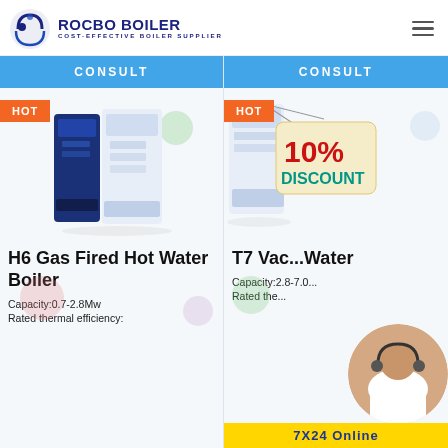ROCBO BOILER - COST-EFFECTIVE BOILER SUPPLIER
CONSULT
CONSULT
HOT
HOT
[Figure (photo): H6 Gas Fired Hot Water Boiler product image - dark blue and white vertical unit]
[Figure (photo): T7 Vacuum Hot Water Boiler product image with 10% Discount badge overlay]
H6 Gas Fired Hot Water Boiler
T7 Vac... Water ...
Capacity:0.7-2.8Mw
Capacity:2.8-7.0...
Rated thermal efficiency:
Rated the...
7X24 Online